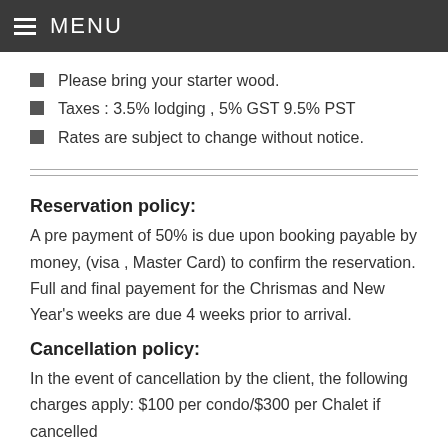MENU
Please bring your starter wood.
Taxes : 3.5% lodging , 5% GST 9.5% PST
Rates are subject to change without notice.
Reservation policy:
A pre payment of 50% is due upon booking payable by money, (visa , Master Card) to confirm the reservation. Full and final payement for the Chrismas and New Year's weeks are due 4 weeks prior to arrival.
Cancellation policy:
In the event of cancellation by the client, the following charges apply: $100 per condo/$300 per Chalet if cancelled